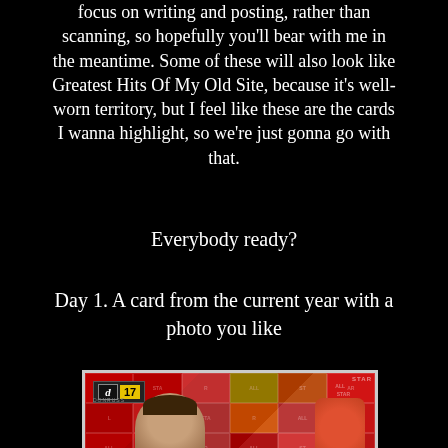focus on writing and posting, rather than scanning, so hopefully you'll bear with me in the meantime. Some of these will also look like Greatest Hits Of My Old Site, because it's well-worn territory, but I feel like these are the cards I wanna highlight, so we're just gonna go with that.
Everybody ready?
Day 1. A card from the current year with a photo you like
[Figure (photo): A Donruss 17 baseball card featuring a close-up photo of a player's face with a red All-Star patterned background and an action shot on the right side]